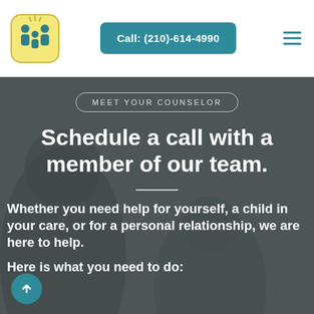[Figure (logo): Family counseling logo icon with teal family figures on yellow/cream rounded square background]
Call: (210)-614-4990
MEET YOUR COUNSELOR
Schedule a call with a member of our team.
Whether you need help for yourself, a child in your care, or for a personal relationship, we are here to help.
Here is what you need to do: